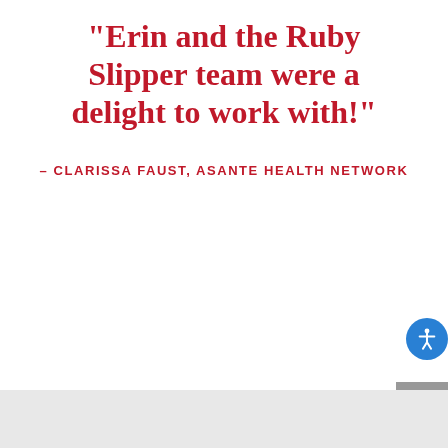“Erin and the Ruby Slipper team were a delight to work with!”
– CLARISSA FAUST, ASANTE HEALTH NETWORK